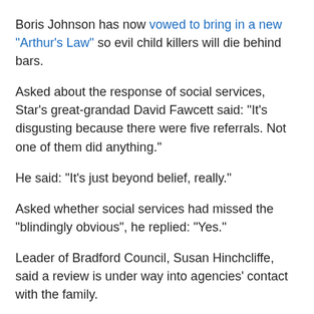Boris Johnson has now vowed to bring in a new "Arthur's Law" so evil child killers will die behind bars.
Asked about the response of social services, Star's great-grandad David Fawcett said: "It's disgusting because there were five referrals. Not one of them did anything."
He said: "It's just beyond belief, really."
Asked whether social services had missed the "blindingly obvious", he replied: "Yes."
Leader of Bradford Council, Susan Hinchcliffe, said a review is under way into agencies' contact with the family.
She added: "Star was let down and we all want to know if anything could have been done differently."
The Department for Education said that Star...